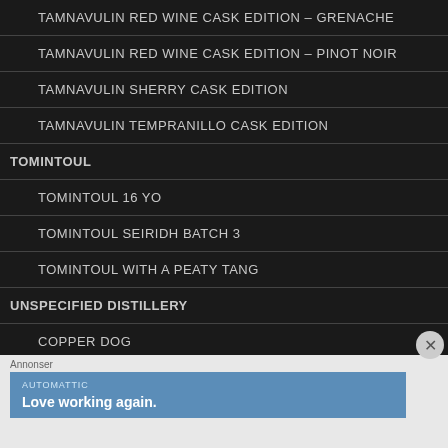TAMNAVULIN RED WINE CASK EDITION – GRENACHE
TAMNAVULIN RED WINE CASK EDITION – PINOT NOIR
TAMNAVULIN SHERRY CASK EDITION
TAMNAVULIN TEMPRANILLO CASK EDITION
TOMINTOUL
TOMINTOUL 16 YO
TOMINTOUL SEIRIDH BATCH 3
TOMINTOUL WITH A PEATY TANG
UNSPECIFIED DISTILLERY
COPPER DOG
Annonser
[Figure (screenshot): Advertisement banner for Automattic with text 'Love working again.' on a blue background]